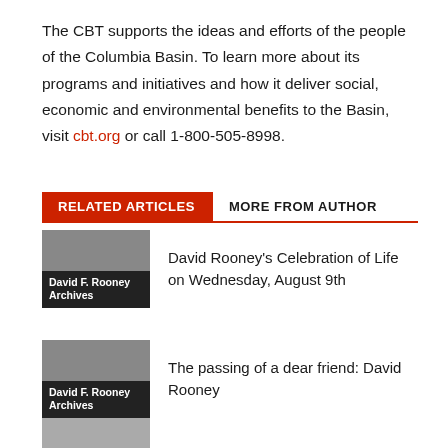The CBT supports the ideas and efforts of the people of the Columbia Basin. To learn more about its programs and initiatives and how it deliver social, economic and environmental benefits to the Basin, visit cbt.org or call 1-800-505-8998.
RELATED ARTICLES   MORE FROM AUTHOR
David Rooney's Celebration of Life on Wednesday, August 9th
[Figure (photo): Thumbnail image with label: David F. Rooney Archives]
The passing of a dear friend: David Rooney
[Figure (photo): Thumbnail image with label: David F. Rooney Archives]
A chuckle a day